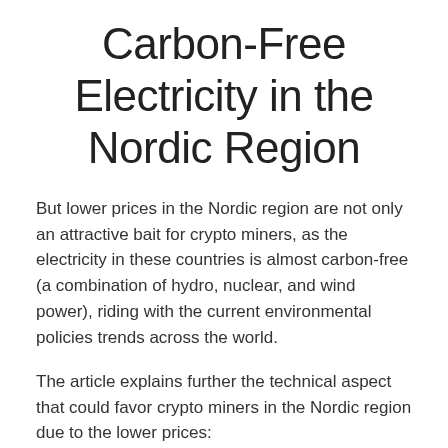Carbon-Free Electricity in the Nordic Region
But lower prices in the Nordic region are not only an attractive bait for crypto miners, as the electricity in these countries is almost carbon-free (a combination of hydro, nuclear, and wind power), riding with the current environmental policies trends across the world.
The article explains further the technical aspect that could favor crypto miners in the Nordic region due to the lower prices:
The cost of power is poised to become even more